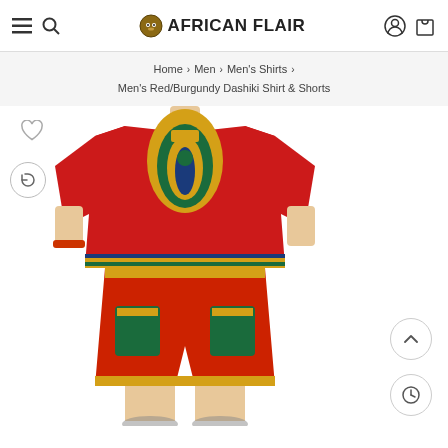AFRICAN FLAIR
Home > Men > Men's Shirts > Men's Red/Burgundy Dashiki Shirt & Shorts
[Figure (photo): A mannequin wearing a Men's Red/Burgundy Dashiki Shirt & Shorts set with colorful African-pattern print in red, green, gold, and blue colors.]